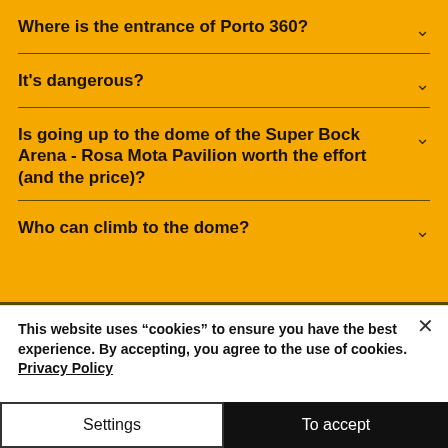Where is the entrance of Porto 360?
It's dangerous?
Is going up to the dome of the Super Bock Arena - Rosa Mota Pavilion worth the effort (and the price)?
Who can climb to the dome?
This website uses “cookies” to ensure you have the best experience. By accepting, you agree to the use of cookies. Privacy Policy
Settings
To accept